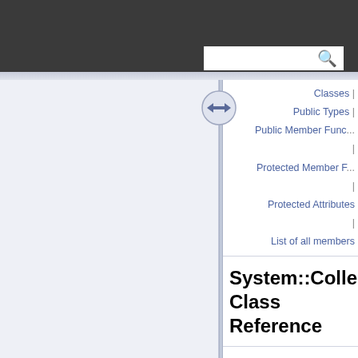Classes | Public Types | Public Member Functions | Protected Member Functions | Protected Attributes | List of all members
System::Collection Class Reference
Indexed list of strings. Objects of this class should only be allocated using